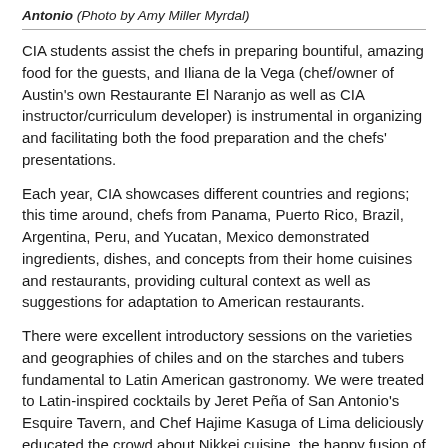Antonio (Photo by Amy Miller Myrdal)
CIA students assist the chefs in preparing bountiful, amazing food for the guests, and Iliana de la Vega (chef/owner of Austin's own Restaurante El Naranjo as well as CIA instructor/curriculum developer) is instrumental in organizing and facilitating both the food preparation and the chefs' presentations.
Each year, CIA showcases different countries and regions; this time around, chefs from Panama, Puerto Rico, Brazil, Argentina, Peru, and Yucatan, Mexico demonstrated ingredients, dishes, and concepts from their home cuisines and restaurants, providing cultural context as well as suggestions for adaptation to American restaurants.
There were excellent introductory sessions on the varieties and geographies of chiles and on the starches and tubers fundamental to Latin American gastronomy. We were treated to Latin-inspired cocktails by Jeret Peña of San Antonio's Esquire Tavern, and Chef Hajime Kasuga of Lima deliciously educated the crowd about Nikkei cuisine, the happy fusion of Japanese technique with Peruvian ingredients that reflects the large, multi-generational population of Japanese immigrants to Peru.